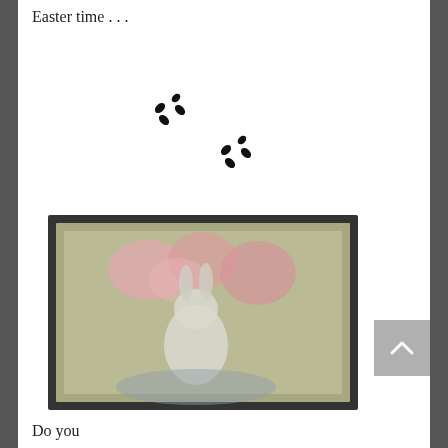Easter time . . .
[Figure (illustration): Bunny footprint tracks, two pairs of small black paw prints arranged diagonally across white space]
[Figure (photo): A blurry/soft-focus framed artwork or painting depicting a white rabbit or Easter bunny with pink flowers, appearing as a decorative illustration]
Do you